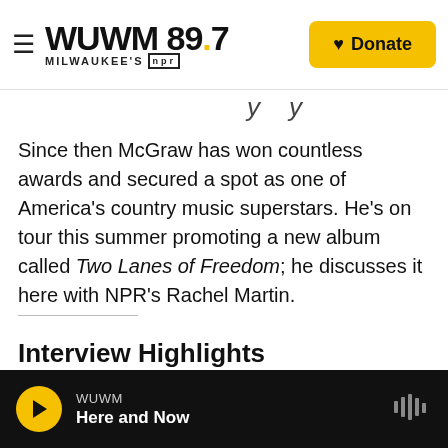WUWM 89.7 Milwaukee's NPR | Donate
Two Lanes of Freedom (partial, cut off)
Since then McGraw has won countless awards and secured a spot as one of America's country music superstars. He's on tour this summer promoting a new album called Two Lanes of Freedom; he discusses it here with NPR's Rachel Martin.
Interview Highlights
On how a song takes shape in his head
WUWM | Here and Now